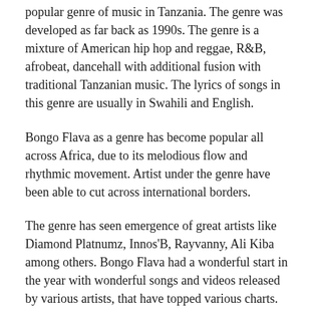popular genre of music in Tanzania. The genre was developed as far back as 1990s. The genre is a mixture of American hip hop and reggae, R&B, afrobeat, dancehall with additional fusion with traditional Tanzanian music. The lyrics of songs in this genre are usually in Swahili and English.
Bongo Flava as a genre has become popular all across Africa, due to its melodious flow and rhythmic movement. Artist under the genre have been able to cut across international borders.
The genre has seen emergence of great artists like Diamond Platnumz, Innos'B, Rayvanny, Ali Kiba among others. Bongo Flava had a wonderful start in the year with wonderful songs and videos released by various artists, that have topped various charts.